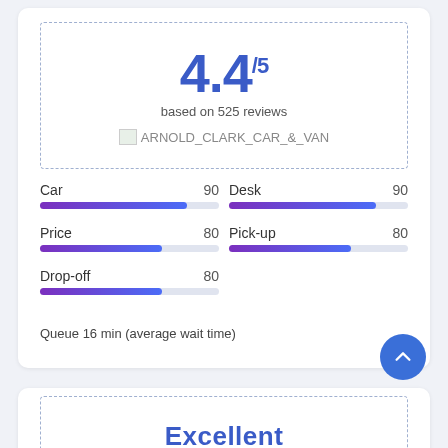4.4/5
based on 525 reviews
[Figure (logo): ARNOLD_CLARK_CAR_&_VAN logo with broken image icon]
Car 90
Desk 90
Price 80
Pick-up 80
Drop-off 80
Queue 16 min (average wait time)
Excellent